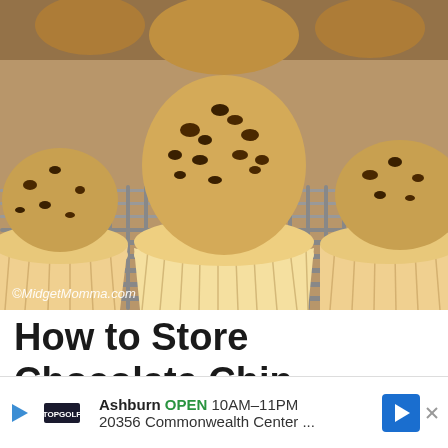[Figure (photo): Chocolate chip cupcakes in paper liners cooling on a metal wire rack, photographed from close up. Watermark reads ©MidgetMomma.com]
How to Store Chocolate Chip Cupcakes
The best way to store cupcakes, normally, is at room temperature. As long as the cupcakes are wrapped well, it will keep the cupcakes tasting dried out. If you choose to use cream cheese frosting ... kes in the refrigerator...
[Figure (other): Advertisement bar: Topgolf logo, Ashburn OPEN 10AM-11PM, 20356 Commonwealth Center..., with navigation arrow icon]